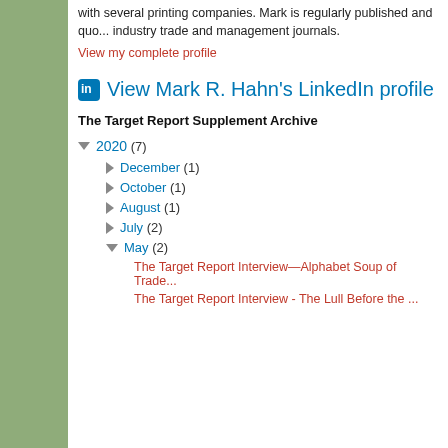with several printing companies. Mark is regularly published and quot... industry trade and management journals.
View my complete profile
View Mark R. Hahn's LinkedIn profile
The Target Report Supplement Archive
2020 (7)
December (1)
October (1)
August (1)
July (2)
May (2)
The Target Report Interview—Alphabet Soup of Trade...
The Target Report Interview - The Lull Before the ...